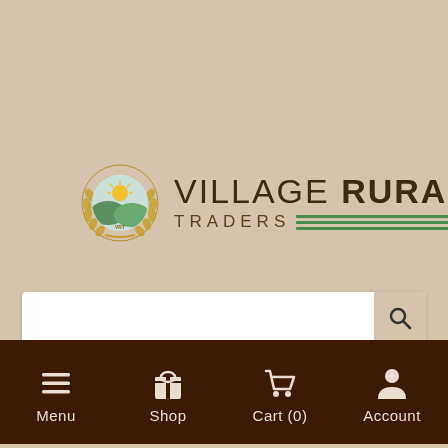[Figure (logo): Village Rural Traders logo with circular emblem showing sun, fields, and wheat wreath, next to text 'VILLAGE RURAL TRADERS' with green horizontal lines]
[Figure (screenshot): Search bar with magnifying glass icon on beige background]
[Figure (screenshot): Dark brown navigation bar with Menu, Shop, Cart (0), and Account icons]